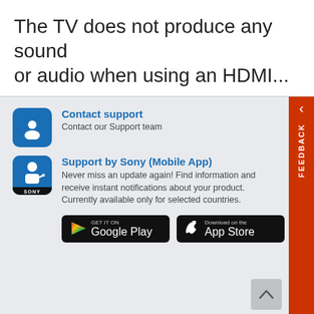The TV does not produce any sound or audio when using an HDMI...
Contact support
Contact our Support team
Support by Sony (Mobile App)
Never miss an update again! Find information and receive instant notifications about your product. Currently available only for selected countries.
[Figure (screenshot): GET IT ON Google Play badge]
[Figure (screenshot): Download on the App Store badge]
Find a Store